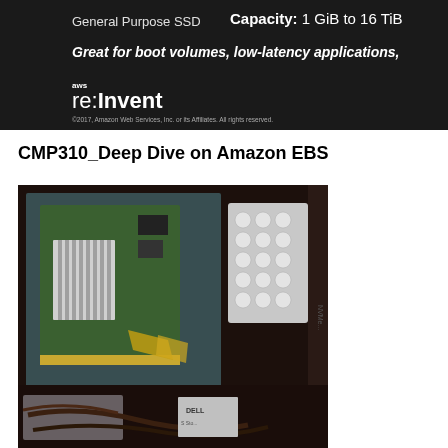[Figure (screenshot): AWS re:Invent slide banner showing 'General Purpose SSD', 'Capacity: 1 GiB to 16 TiB', 'Great for boot volumes, low-latency applications,' and AWS re:Invent logo with copyright 2017 Amazon Web Services]
CMP310_Deep Dive on Amazon EBS
[Figure (photo): Photograph of computer hardware components including a circuit board/NVMe card in an anti-static bag inside a computer tower, with bubble wrap and cables including a Dell storage device visible]